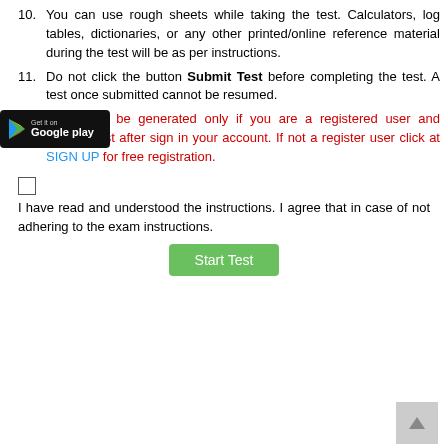10. You can use rough sheets while taking the test. Calculators, log tables, dictionaries, or any other printed/online reference material during the test will be as per instructions.
11. Do not click the button Submit Test before completing the test. A test once submitted cannot be resumed.
[Figure (logo): Google Play 'Get it on' badge, black background with Play triangle icon]
12. Result will be generated only if you are a registered user and attempt test after sign in your account. If not a register user click at SIGN UP for free registration.
I have read and understood the instructions. I agree that in case of not adhering to the exam instructions.
Start Test (button)